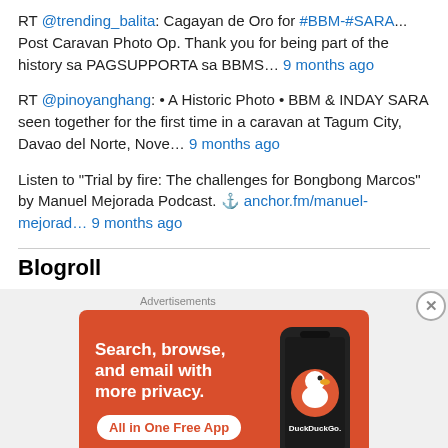RT @trending_balita: Cagayan de Oro for #BBM-#SARA... Post Caravan Photo Op. Thank you for being part of the history sa PAGSUPPORTA sa BBMS… 9 months ago
RT @pinoyanghang: • A Historic Photo • BBM & INDAY SARA seen together for the first time in a caravan at Tagum City, Davao del Norte, Nove… 9 months ago
Listen to "Trial by fire: The challenges for Bongbong Marcos" by Manuel Mejorada Podcast. ⚓ anchor.fm/manuel-mejorad… 9 months ago
Blogroll
[Figure (screenshot): DuckDuckGo advertisement: orange background with white bold text 'Search, browse, and email with more privacy.' and 'All in One Free App' button, with a phone illustration showing the DuckDuckGo logo.]